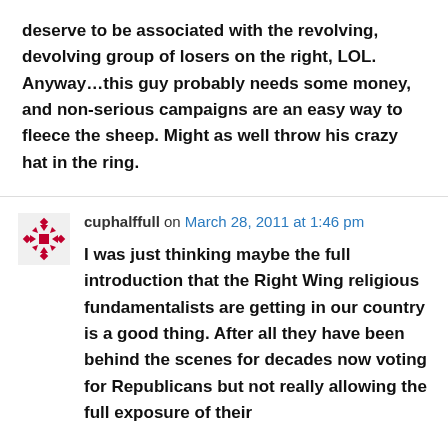deserve to be associated with the revolving, devolving group of losers on the right, LOL.

Anyway…this guy probably needs some money, and non-serious campaigns are an easy way to fleece the sheep. Might as well throw his crazy hat in the ring.
cuphalffull on March 28, 2011 at 1:46 pm
I was just thinking maybe the full introduction that the Right Wing religious fundamentalists are getting in our country is a good thing. After all they have been behind the scenes for decades now voting for Republicans but not really allowing the full exposure of their